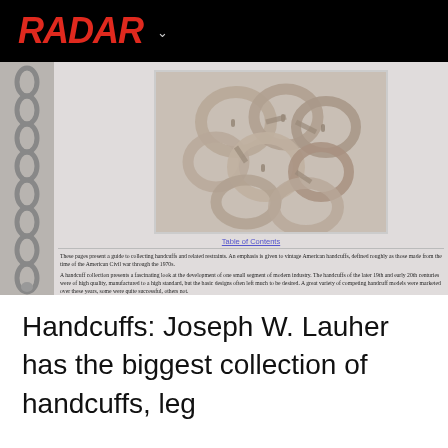RADAR
[Figure (screenshot): Screenshot of a webpage about handcuff collecting, showing a pile of silver handcuffs photo at top center, a handcuff chain image on the left side, a 'Table of Contents' link, and two paragraphs of text about the guide to collecting handcuffs and related restraints.]
These pages present a guide to collecting handcuffs and related restraints. An emphasis is given to vintage American handcuffs, defined roughly as those made from the time of the American Civil war through the 1970s.
A handcuff collection presents a fascinating look at the development of one small segment of modern industry. The handcuffs of the later 19th and early 20th centuries were of high quality, manufactured to a high standard, but the basic designs often left much to be desired. A great variety of competing handcuff models were marketed over these years, some were quite successful, others not.
Handcuffs: Joseph W. Lauher has the biggest collection of handcuffs, leg irons, nippers (cuffs that lock one hand), and thumbcuffs. He's